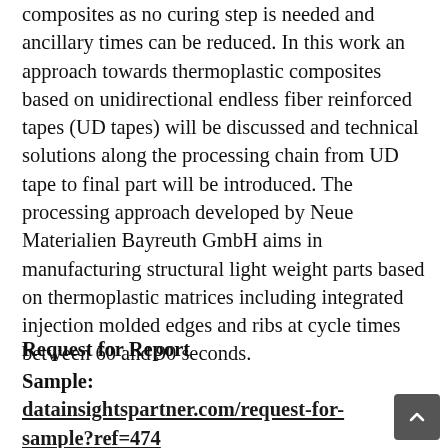composites as no curing step is needed and ancillary times can be reduced. In this work an approach towards thermoplastic composites based on unidirectional endless fiber reinforced tapes (UD tapes) will be discussed and technical solutions along the processing chain from UD tape to final part will be introduced. The processing approach developed by Neue Materialien Bayreuth GmbH aims in manufacturing structural light weight parts based on thermoplastic matrices including integrated injection molded edges and ribs at cycle times between 60 and 90 seconds.
Request for Report
Sample: datainsightspartner.com/request-for-sample?ref=474